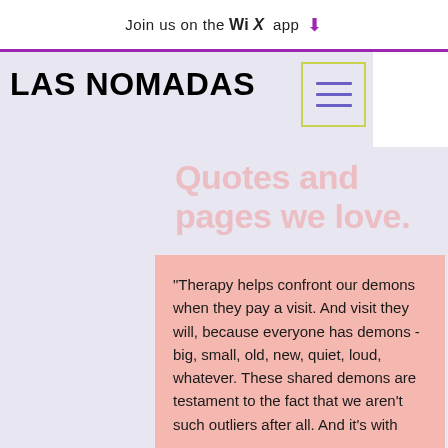Join us on the WiX app ↓
LAS NOMADAS
[Figure (other): Hamburger menu icon inside a yellow-green bordered square box]
Quotes and pages we love.
"Therapy helps confront our demons when they pay a visit. And visit they will, because everyone has demons - big, small, old, new, quiet, loud, whatever. These shared demons are testament to the fact that we aren't such outliers after all. And it's with